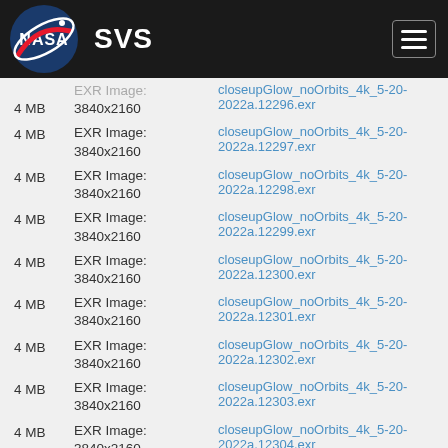NASA SVS
| Size | Type / Dimensions | Filename |
| --- | --- | --- |
| 4 MB | EXR Image: 3840x2160 | closeupGlow_noOrbits_4k_5-20-2022a.12296.exr |
| 4 MB | EXR Image: 3840x2160 | closeupGlow_noOrbits_4k_5-20-2022a.12297.exr |
| 4 MB | EXR Image: 3840x2160 | closeupGlow_noOrbits_4k_5-20-2022a.12298.exr |
| 4 MB | EXR Image: 3840x2160 | closeupGlow_noOrbits_4k_5-20-2022a.12299.exr |
| 4 MB | EXR Image: 3840x2160 | closeupGlow_noOrbits_4k_5-20-2022a.12300.exr |
| 4 MB | EXR Image: 3840x2160 | closeupGlow_noOrbits_4k_5-20-2022a.12301.exr |
| 4 MB | EXR Image: 3840x2160 | closeupGlow_noOrbits_4k_5-20-2022a.12302.exr |
| 4 MB | EXR Image: 3840x2160 | closeupGlow_noOrbits_4k_5-20-2022a.12303.exr |
| 4 MB | EXR Image: 3840x2160 | closeupGlow_noOrbits_4k_5-20-2022a.12304.exr |
| 4 MB | EXR Image: 3840x2160 | closeupGlow_noOrbits_4k_5-20-2022a.12305.exr |